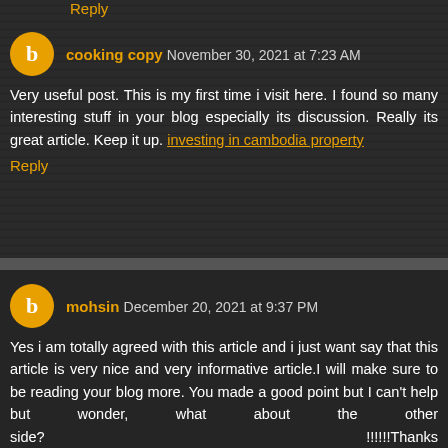Reply
cooking copy  November 30, 2021 at 7:23 AM
Very useful post. This is my first time i visit here. I found so many interesting stuff in your blog especially its discussion. Really its great article. Keep it up. investing in cambodia property
Reply
mohsin  December 20, 2021 at 9:37 PM
Yes i am totally agreed with this article and i just want say that this article is very nice and very informative article.I will make sure to be reading your blog more. You made a good point but I can't help but wonder, what about the other side?                                          !!!!!!Thanks https://www.facebook.com/khmertimes/posts/3530583573834912?locale=en_GB
Reply